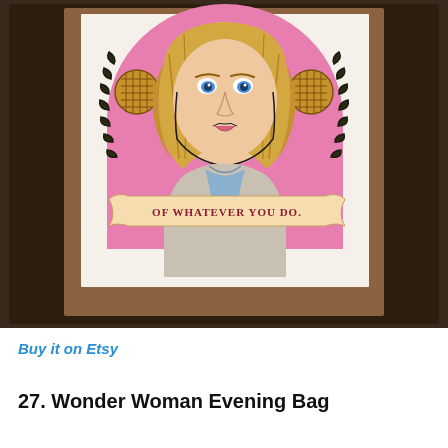[Figure (illustration): Hand-drawn colored illustration of a blonde woman (Leslie Knope from Parks and Recreation) with blue eyes, wearing a blue shirt and blazer. She is framed by a decorative laurel wreath border and two waffle-like circular medallions. A banner ribbon across the bottom reads 'OF WHATEVER YOU DO.' in dark red serif letters. The illustration is mounted on a brown mat board and photographed on a dark wooden surface.]
Buy it on Etsy
27. Wonder Woman Evening Bag